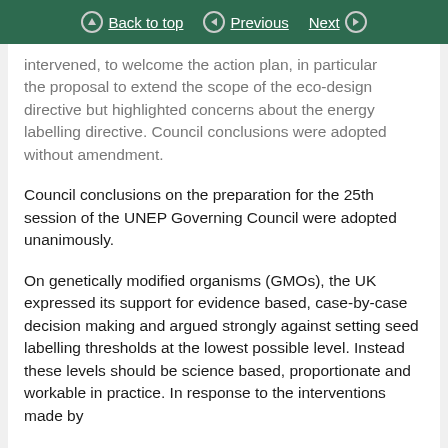Back to top | Previous | Next
intervened, to welcome the action plan, in particular the proposal to extend the scope of the eco-design directive but highlighted concerns about the energy labelling directive. Council conclusions were adopted without amendment.

Council conclusions on the preparation for the 25th session of the UNEP Governing Council were adopted unanimously.

On genetically modified organisms (GMOs), the UK expressed its support for evidence based, case-by-case decision making and argued strongly against setting seed labelling thresholds at the lowest possible level. Instead these levels should be science based, proportionate and workable in practice. In response to the interventions made by